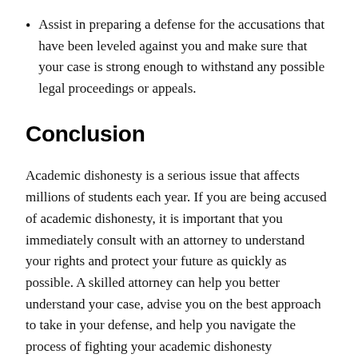Assist in preparing a defense for the accusations that have been leveled against you and make sure that your case is strong enough to withstand any possible legal proceedings or appeals.
Conclusion
Academic dishonesty is a serious issue that affects millions of students each year. If you are being accused of academic dishonesty, it is important that you immediately consult with an attorney to understand your rights and protect your future as quickly as possible. A skilled attorney can help you better understand your case, advise you on the best approach to take in your defense, and help you navigate the process of fighting your academic dishonesty